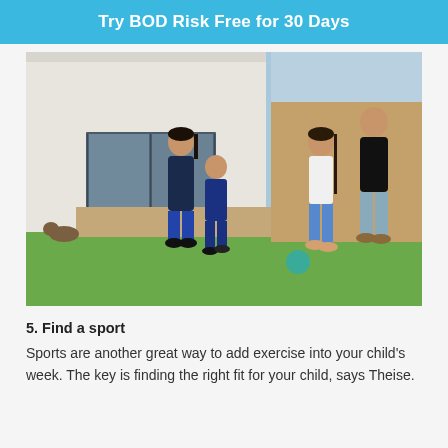Try BOD Risk Free for 30 Days
[Figure (photo): Family playing soccer/football in a backyard garden. A mother and two children run on grass near a modern house with sliding glass doors. On the right, a man in a black shirt watches a girl in a white shirt kick a teal ball.]
5. Find a sport
Sports are another great way to add exercise into your child's week. The key is finding the right fit for your child, says Theise.